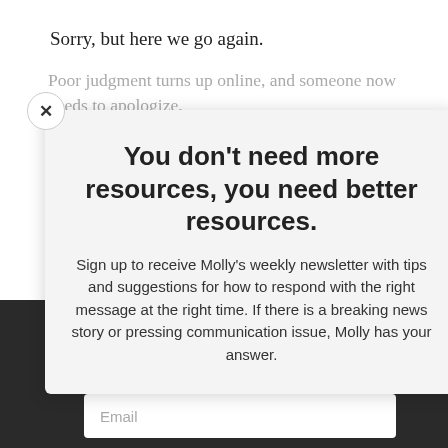Sorry, but here we go again.
Poor judgment turns up online, and someone now needs to apologize.
You don't need more resources, you need better resources.
Sign up to receive Molly's weekly newsletter with tips and suggestions for how to respond with the right message at the right time. If there is a breaking news story or pressing communication issue, Molly has your answer.
School photos of a high-profile politician wearing blackface surface online before an election and the masses call for a resignation.
A cast member on a popular television program is hired, then quickly fired for comments made on a podcast.
Why do some people survive the PR crisis
Email